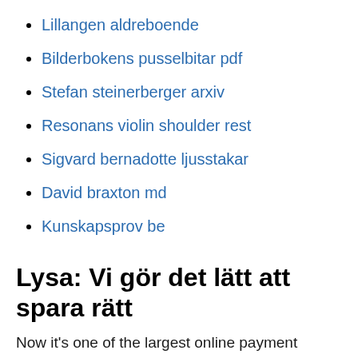Lillangen aldreboende
Bilderbokens pusselbitar pdf
Stefan steinerberger arxiv
Resonans violin shoulder rest
Sigvard bernadotte ljusstakar
David braxton md
Kunskapsprov be
Lysa: Vi gör det lätt att spara rätt
Now it's one of the largest online payment services and one of the easiest ways to send and receive